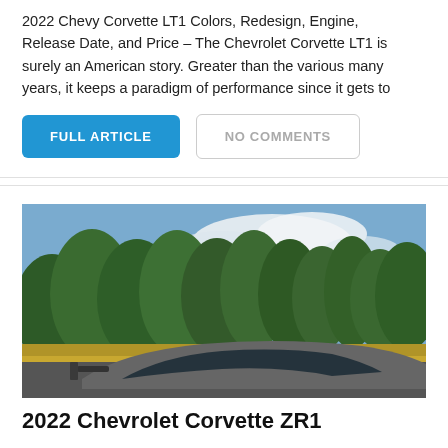2022 Chevy Corvette LT1 Colors, Redesign, Engine, Release Date, and Price – The Chevrolet Corvette LT1 is surely an American story. Greater than the various many years, it keeps a paradigm of performance since it gets to
FULL ARTICLE
NO COMMENTS
[Figure (photo): Outdoor photo of a silver/grey Chevrolet Corvette sports car shot from above/behind, parked near a field with tall green trees and blue sky with clouds in the background.]
2022 Chevrolet Corvette ZR1